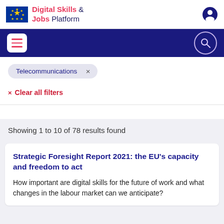Digital Skills & Jobs Platform
Telecommunications ×
× Clear all filters
Showing 1 to 10 of 78 results found
Strategic Foresight Report 2021: the EU's capacity and freedom to act
How important are digital skills for the future of work and what changes in the labour market can we anticipate?